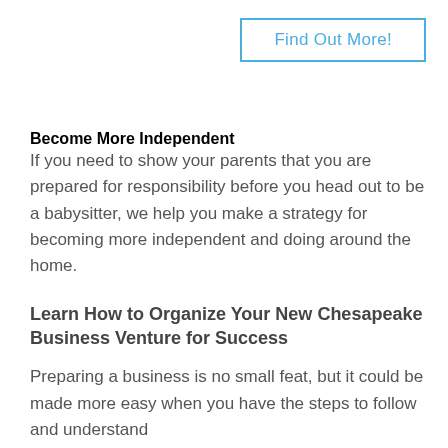Find Out More!
Become More Independent
If you need to show your parents that you are prepared for responsibility before you head out to be a babysitter, we help you make a strategy for becoming more independent and doing around the home.
Learn How to Organize Your New Chesapeake Business Venture for Success
Preparing a business is no small feat, but it could be made more easy when you have the steps to follow and understand